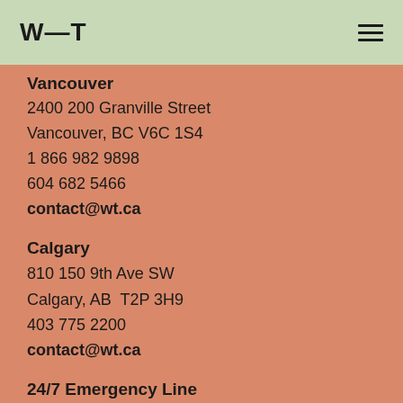W—T
Vancouver
2400 200 Granville Street
Vancouver, BC V6C 1S4
1 866 982 9898
604 682 5466
contact@wt.ca
Calgary
810 150 9th Ave SW
Calgary, AB  T2P 3H9
403 775 2200
contact@wt.ca
24/7 Emergency Line
1 877 247 3659